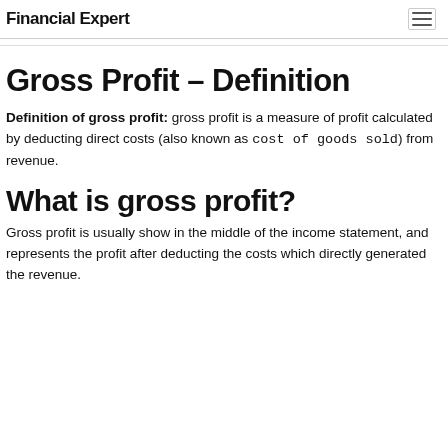Financial Expert
Gross Profit – Definition
Definition of gross profit: gross profit is a measure of profit calculated by deducting direct costs (also known as cost of goods sold) from revenue.
What is gross profit?
Gross profit is usually show in the middle of the income statement, and represents the profit after deducting the costs which directly generated the revenue.